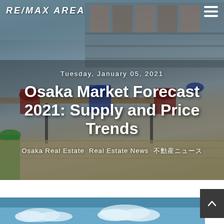[Figure (photo): Office/co-working space interior with colorful chairs (red, blue, green) around wooden tables, shelving in background, wooden floor — used as hero background image]
RE/MAX AREA
Tuesday, January 05, 2021
Osaka Market Forecast 2021: Supply and Price Trends
Osaka Real Estate Real Estate News 不動産ニュース
[Figure (photo): Partial peek of next section image showing blue sky with clouds]